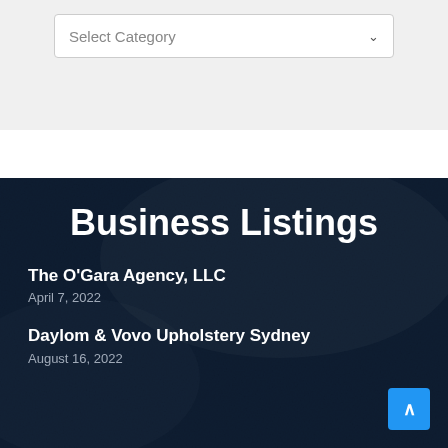Select Category
Business Listings
The O'Gara Agency, LLC
April 7, 2022
Daylom & Vovo Upholstery Sydney
August 16, 2022